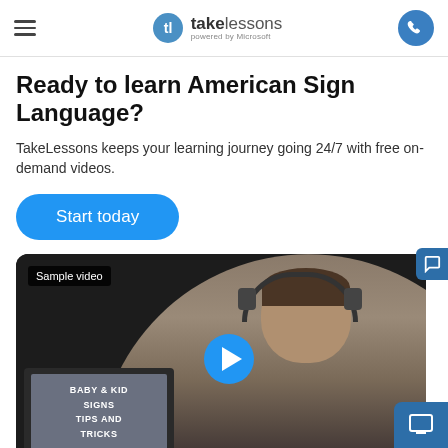takelessons powered by Microsoft
Ready to learn American Sign Language?
TakeLessons keeps your learning journey going 24/7 with free on-demand videos.
Start today
[Figure (photo): A smiling woman wearing headphones and a gray t-shirt sitting in front of a laptop displaying 'BABY & KID SIGNS TIPS AND TRICKS'. A blue play button overlay is shown in the center. A 'Sample video' label appears in the top-left corner of the video thumbnail.]